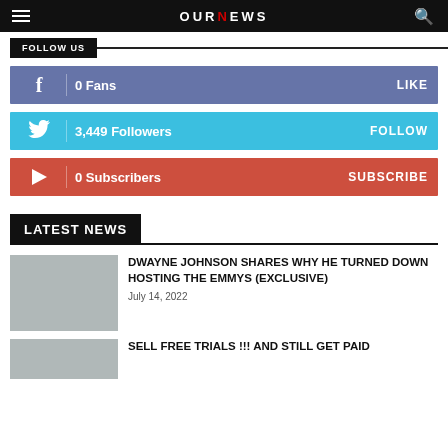OUR NEWS
FOLLOW US
0  Fans   LIKE
3,449  Followers   FOLLOW
0  Subscribers   SUBSCRIBE
LATEST NEWS
DWAYNE JOHNSON SHARES WHY HE TURNED DOWN HOSTING THE EMMYS (EXCLUSIVE)
July 14, 2022
SELL FREE TRIALS !!! AND STILL GET PAID